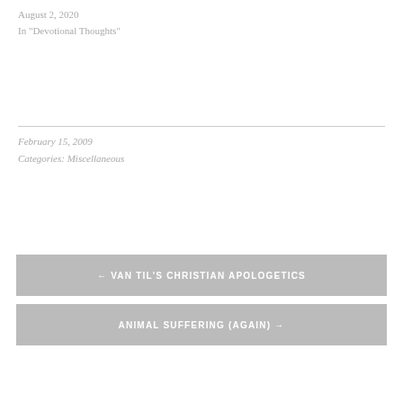August 2, 2020
In "Devotional Thoughts"
February 15, 2009
Categories: Miscellaneous
← VAN TIL'S CHRISTIAN APOLOGETICS
ANIMAL SUFFERING (AGAIN) →